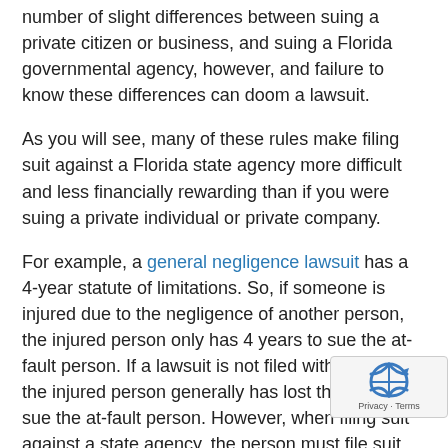number of slight differences between suing a private citizen or business, and suing a Florida governmental agency, however, and failure to know these differences can doom a lawsuit.
As you will see, many of these rules make filing suit against a Florida state agency more difficult and less financially rewarding than if you were suing a private individual or private company.
For example, a general negligence lawsuit has a 4-year statute of limitations. So, if someone is injured due to the negligence of another person, the injured person only has 4 years to sue the at-fault person. If a lawsuit is not filed within 4 years, the injured person generally has lost their ability to sue the at-fault person. However, when filing suit against a state agency, the person must file suit within 3 years.
Another rule is that governmental agencies are generally only liable up to $200,000 per incident or occurrence that